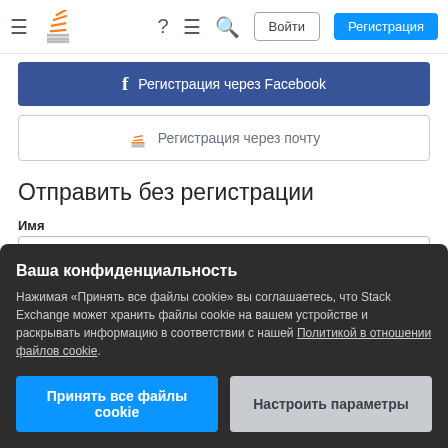[Figure (screenshot): Stack Overflow navigation bar with hamburger menu, logo, question mark, chat, search icons, and Войти/Регистрация buttons]
Регистрация через Facebook
Регистрация через почту
Отправить без регистрации
Имя
Почта
Ваша конфиденциальность
Нажимая «Принять все файлы cookie» вы соглашаетесь, что Stack Exchange может хранить файлы cookie на вашем устройстве и раскрывать информацию в соответствии с нашей Политикой в отношении файлов cookie.
Принять все файлы cookie
Настроить параметры